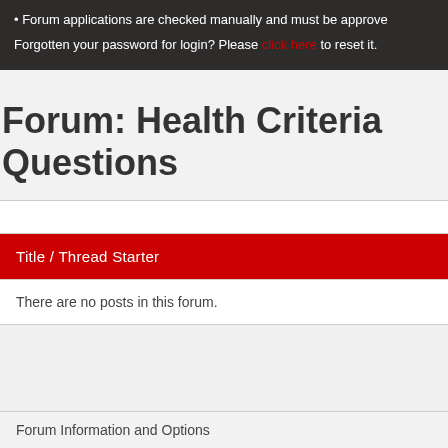Forum applications are checked manually and must be approved
Forgotten your password for login? Please click here to reset it.
Forum: Health Criteria Questions
| Title / Thread Starter |
| --- |
| There are no posts in this forum. |
Forum Information and Options